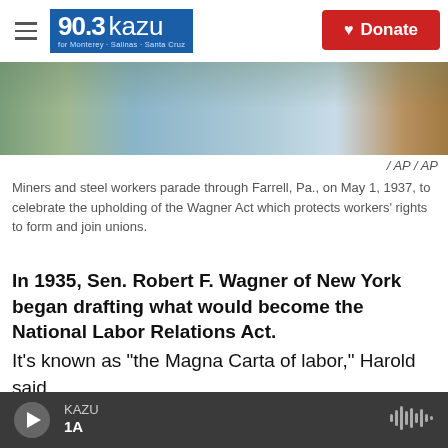[Figure (screenshot): KAZU 90.3 radio station website header with logo, hamburger menu, photo banner, and Donate button]
/ AP / AP
Miners and steel workers parade through Farrell, Pa., on May 1, 1937, to celebrate the upholding of the Wagner Act which protects workers' rights to form and join unions.
In 1935, Sen. Robert F. Wagner of New York began drafting what would become the National Labor Relations Act.
It's known as "the Magna Carta of labor," Harold said.
It grants the right for workers to organize. The
KAZU 1A